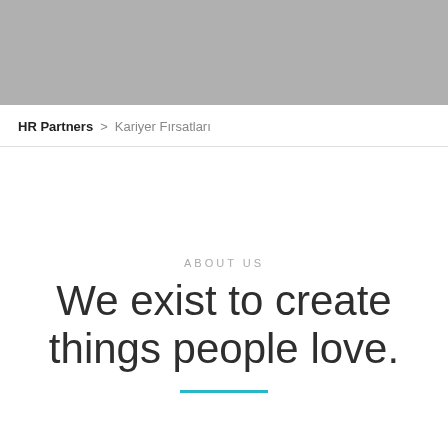[Figure (photo): Gray hero image placeholder banner at the top of the page]
HR Partners > Kariyer Fırsatları
ABOUT US
We exist to create things people love.